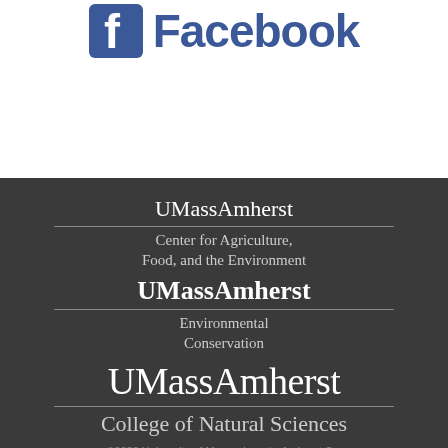[Figure (logo): Facebook logo with blue square 'f' icon and 'Facebook' text in blue]
[Figure (logo): UMass Amherst Center for Agriculture, Food, and the Environment logo on dark background]
[Figure (logo): UMass Amherst Environmental Conservation logo on dark background]
[Figure (logo): UMass Amherst College of Natural Sciences logo on dark background]
©2022 University of Massachusetts Amherst S...